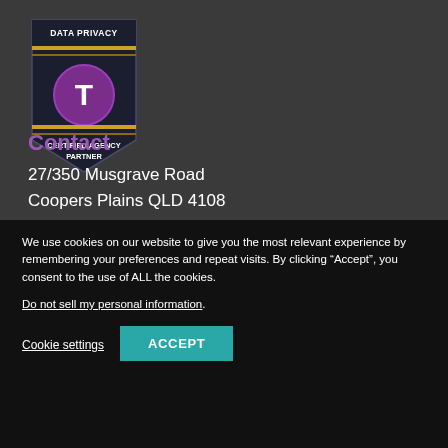[Figure (logo): Data Privacy certified agency partner badge/shield logo with purple circle containing letter T, gold stripes on dark background]
Contact
27/350 Musgrave Road
Coopers Plains QLD 4108
AUSTRALIA
We use cookies on our website to give you the most relevant experience by remembering your preferences and repeat visits. By clicking “Accept”, you consent to the use of ALL the cookies.
Do not sell my personal information.
Cookie settings  ACCEPT